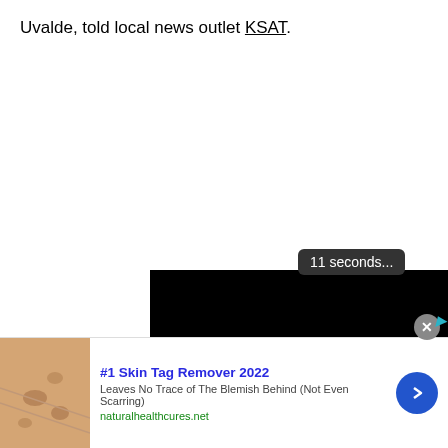Uvalde, told local news outlet KSAT.
[Figure (screenshot): Video player with black background showing a speaker/audio enable button and a '11 seconds...' countdown overlay]
[Figure (infographic): Advertisement banner: '#1 Skin Tag Remover 2022 - Leaves No Trace of The Blemish Behind (Not Even Scarring) - naturalhealthcures.net' with skin image and blue arrow button]